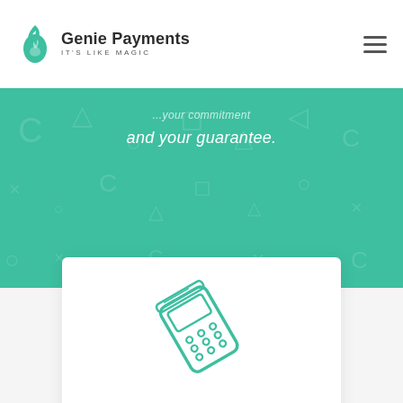Genie Payments IT'S LIKE MAGIC
and your guarantee.
[Figure (illustration): Line-art icon of a handheld payment terminal/card reader device in teal/green color]
Free Terminals